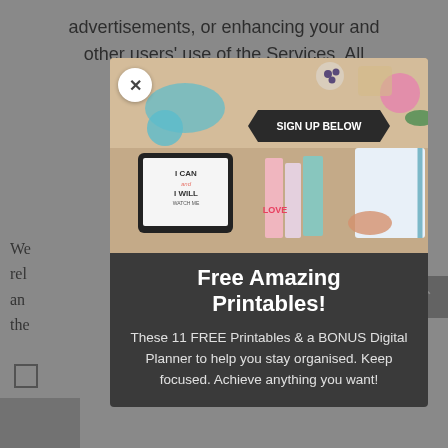advertisements, or enhancing your and other users' use of the Services. All
[Figure (screenshot): Modal popup with a close X button, a photo of planners and notebooks on a desk with 'SIGN UP BELOW' banner, a bold title 'Free Amazing Printables!' and descriptive text below.]
Free Amazing Printables!
These 11 FREE Printables & a BONUS Digital Planner to help you stay organised. Keep focused. Achieve anything you want!